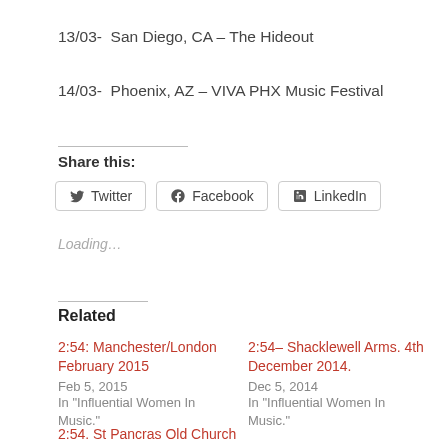13/03-  San Diego, CA – The Hideout
14/03-  Phoenix, AZ – VIVA PHX Music Festival
Share this:
Twitter  Facebook  LinkedIn
Loading…
Related
2:54: Manchester/London February 2015
Feb 5, 2015
In "Influential Women In Music."
2:54– Shacklewell Arms. 4th December 2014.
Dec 5, 2014
In "Influential Women In Music."
2:54. St Pancras Old Church